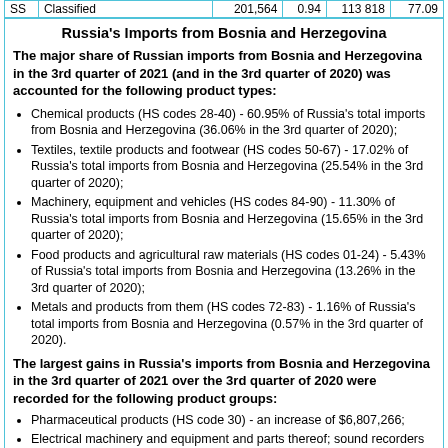| SS | Classified |  | 201,564 | 0.94 | 113 818 | 77.09 |
| --- | --- | --- | --- | --- | --- | --- |
Russia's Imports from Bosnia and Herzegovina
The major share of Russian imports from Bosnia and Herzegovina in the 3rd quarter of 2021 (and in the 3rd quarter of 2020) was accounted for the following product types:
Chemical products (HS codes 28-40) - 60.95% of Russia's total imports from Bosnia and Herzegovina (36.06% in the 3rd quarter of 2020);
Textiles, textile products and footwear (HS codes 50-67) - 17.02% of Russia's total imports from Bosnia and Herzegovina (25.54% in the 3rd quarter of 2020);
Machinery, equipment and vehicles (HS codes 84-90) - 11.30% of Russia's total imports from Bosnia and Herzegovina (15.65% in the 3rd quarter of 2020);
Food products and agricultural raw materials (HS codes 01-24) - 5.43% of Russia's total imports from Bosnia and Herzegovina (13.26% in the 3rd quarter of 2020);
Metals and products from them (HS codes 72-83) - 1.16% of Russia's total imports from Bosnia and Herzegovina (0.57% in the 3rd quarter of 2020).
The largest gains in Russia's imports from Bosnia and Herzegovina in the 3rd quarter of 2021 over the 3rd quarter of 2020 were recorded for the following product groups:
Pharmaceutical products (HS code 30) - an increase of $6,807,266;
Electrical machinery and equipment and parts thereof; sound recorders and reproducers, television image and sound recorders and…